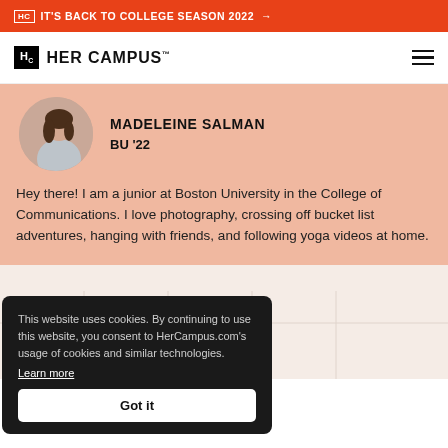IT'S BACK TO COLLEGE SEASON 2022 →
HER CAMPUS
MADELEINE SALMAN
BU '22
Hey there! I am a junior at Boston University in the College of Communications. I love photography, crossing off bucket list adventures, hanging with friends, and following yoga videos at home.
This website uses cookies. By continuing to use this website, you consent to HerCampus.com's usage of cookies and similar technologies.
Learn more
Got it